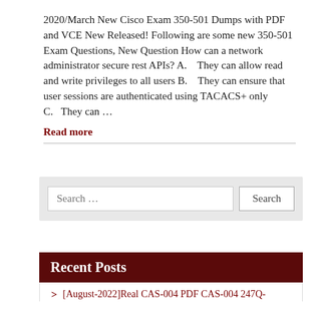2020/March New Cisco Exam 350-501 Dumps with PDF and VCE New Released! Following are some new 350-501 Exam Questions, New Question How can a network administrator secure rest APIs? A.    They can allow read and write privileges to all users B.    They can ensure that user sessions are authenticated using TACACS+ only C.    They can …
Read more
Recent Posts
[August-2022]Real CAS-004 PDF CAS-004 247Q-